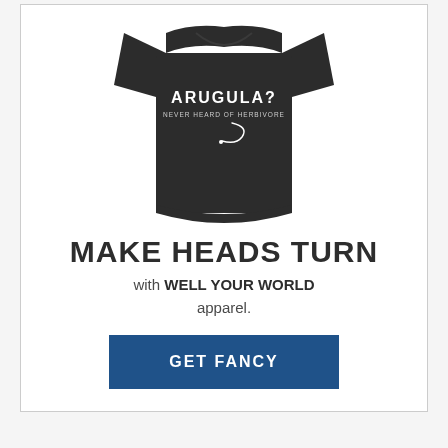[Figure (photo): A black t-shirt with white text reading 'ARUGULA? Never Heard of Herbivore' with a small decorative graphic]
MAKE HEADS TURN
with WELL YOUR WORLD apparel.
GET FANCY